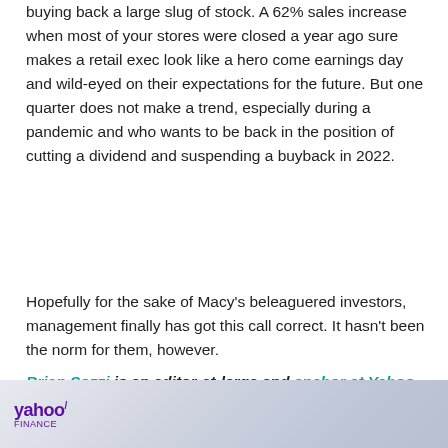buying back a large slug of stock. A 62% sales increase when most of your stores were closed a year ago sure makes a retail exec look like a hero come earnings day and wild-eyed on their expectations for the future. But one quarter does not make a trend, especially during a pandemic and who wants to be back in the position of cutting a dividend and suspending a buyback in 2022.
Hopefully for the sake of Macy’s beleaguered investors, management finally has got this call correct. It hasn’t been the norm for them, however.
Brian Sozzi is an editor-at-large and anchor at Yahoo Finance. Follow Sozzi on Twitter @BrianSozzi and on LinkedIn.
[Figure (screenshot): Yahoo Finance logo banner at the bottom of the page with a light blue/purple gradient background]